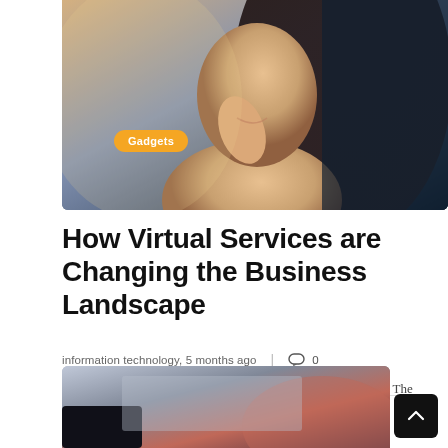[Figure (photo): Woman holding phone to her face, close-up shot with dark background. Orange 'Gadgets' badge overlay in lower left.]
How Virtual Services are Changing the Business Landscape
information technology, 5 months ago  |  0
How Virtual Services are Changing the Business Landscape? – The future of the office is online. Giant rooms filled with…
[Figure (photo): Partial view of a dark device or surface with reddish tones, bottom of page.]